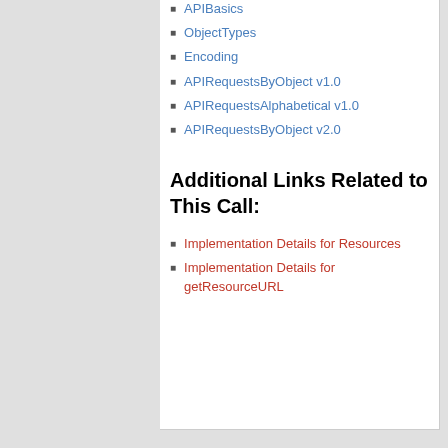APIBasics
ObjectTypes
Encoding
APIRequestsByObject v1.0
APIRequestsAlphabetical v1.0
APIRequestsByObject v2.0
Additional Links Related to This Call:
Implementation Details for Resources
Implementation Details for getResourceURL